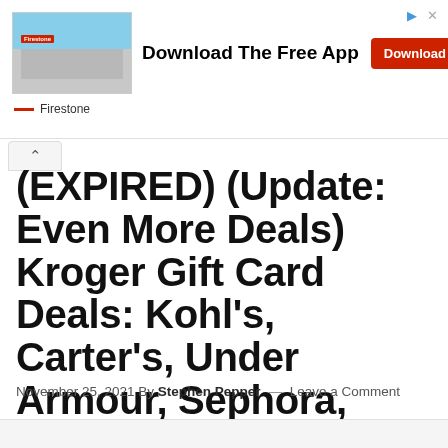[Figure (screenshot): Firestone store advertisement banner showing a Firestone store photo, text 'Download The Free App', a red Download button, and the Firestone logo/name at bottom left.]
(EXPIRED) (Update: Even More Deals) Kroger Gift Card Deals: Kohl's, Carter's, Under Armour, Sephora, Adidas, Petco & Many More
November 25, 2021 By Stephen Pepper — Leave a Comment